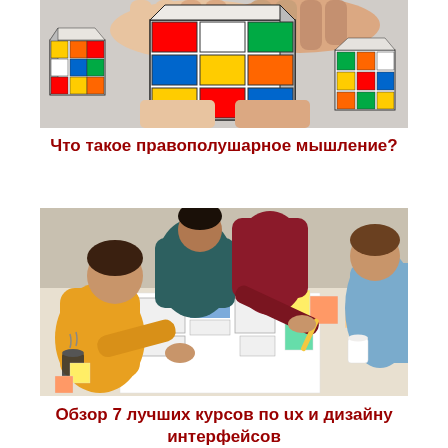[Figure (photo): Close-up photo of hands holding and solving Rubik's cubes on a table]
Что такое правополушарное мышление?
[Figure (photo): Group of people collaborating over UX/UI design wireframes and sticky notes spread on a table]
Обзор 7 лучших курсов по ux и дизайну интерфейсов